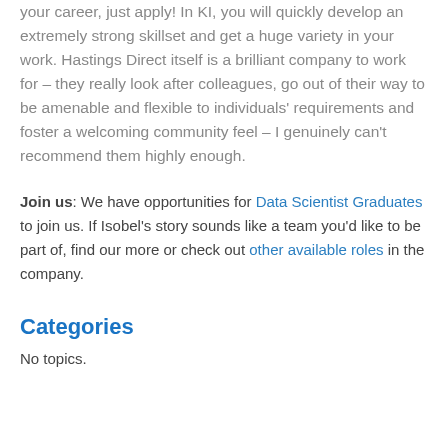your career, just apply! In KI, you will quickly develop an extremely strong skillset and get a huge variety in your work. Hastings Direct itself is a brilliant company to work for – they really look after colleagues, go out of their way to be amenable and flexible to individuals' requirements and foster a welcoming community feel – I genuinely can't recommend them highly enough.
Join us: We have opportunities for Data Scientist Graduates to join us. If Isobel's story sounds like a team you'd like to be part of, find our more or check out other available roles in the company.
Categories
No topics.